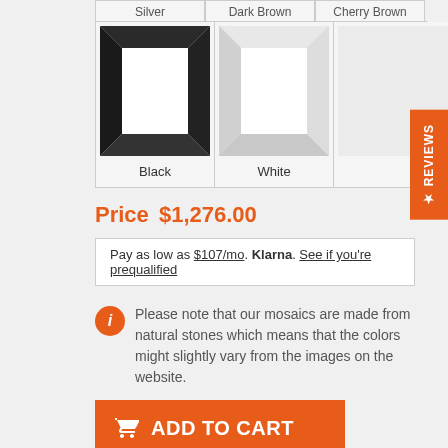[Figure (photo): Product color options grid showing Black frame and White frame samples, with Silver, Dark Brown, Cherry Brown labels at top]
Price $1,276.00
Pay as low as $107/mo. Klarna. See if you're prequalified
Please note that our mosaics are made from natural stones which means that the colors might slightly vary from the images on the website.
ADD TO CART
Ask us about a price of a custom size/color.